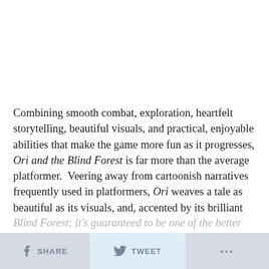Combining smooth combat, exploration, heartfelt storytelling, beautiful visuals, and practical, enjoyable abilities that make the game more fun as it progresses, Ori and the Blind Forest is far more than the average platformer.  Veering away from cartoonish narratives frequently used in platformers, Ori weaves a tale as beautiful as its visuals, and, accented by its brilliant score, often feels like playing a storybook or an animated film.  Don't turn a blind eye to Ori and the Blind Forest; it's guaranteed to be one of the better...
SHARE   TWEET   ...